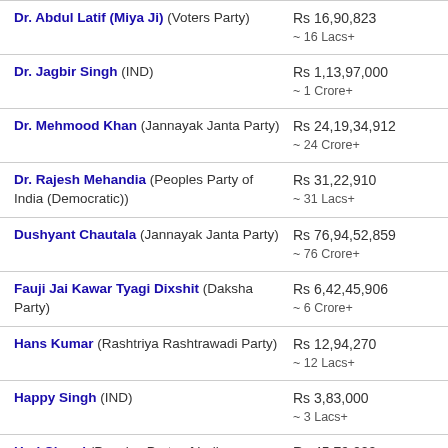Dr. Abdul Latif (Miya Ji) (Voters Party) — Rs 16,90,823 ~ 16 Lacs+
Dr. Jagbir Singh (IND) — Rs 1,13,97,000 ~ 1 Crore+
Dr. Mehmood Khan (Jannayak Janta Party) — Rs 24,19,34,912 ~ 24 Crore+
Dr. Rajesh Mehandia (Peoples Party of India (Democratic)) — Rs 31,22,910 ~ 31 Lacs+
Dushyant Chautala (Jannayak Janta Party) — Rs 76,94,52,859 ~ 76 Crore+
Fauji Jai Kawar Tyagi Dixshit (Daksha Party) — Rs 6,42,45,906 ~ 6 Crore+
Hans Kumar (Rashtriya Rashtrawadi Party) — Rs 12,94,270 ~ 12 Lacs+
Happy Singh (IND) — Rs 3,83,000 ~ 3 Lacs+
Hari Chand (Peoples Party of India (Democratic)) — Rs 45,79,000 ~ 45 Lacs+
Hari Shankar Rajvans (Adim Bhartiya Dal) — Rs 11,63,364